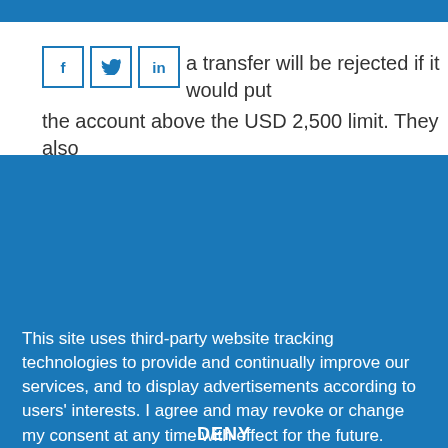account balance limit that cannot be exceeded. a transfer will be rejected if it would put the account above the USD 2,500 limit. They also
This site uses third-party website tracking technologies to provide and continually improve our services, and to display advertisements according to users' interests. I agree and may revoke or change my consent at any time with effect for the future.
DENY
ACCEPT
MORE
Powered by usercentrics & eRecht24